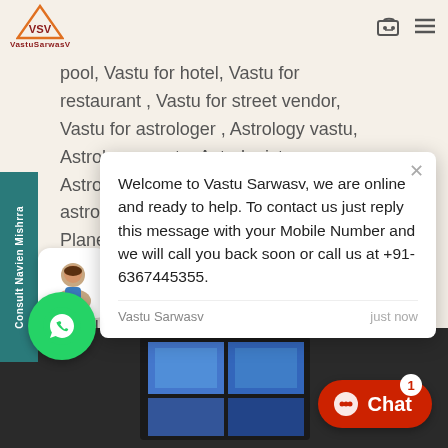[Figure (logo): VastuSarwasV logo with orange triangle and text]
pool, Vastu for hotel, Vastu for restaurant , Vastu for street vendor, Vastu for astrologer , Astrology vastu, Astrologer vastu, Astrologist, Astronomy, Planet, Planets , Planet astro, Planet vastu, Planet vaastu, Planet fitness , Vaas... Vastu... Vastu... Vastu... , Vaa... vastu... vaas...
[Figure (screenshot): Chat popup from Vastu Sarwasv with welcome message and contact details]
Welcome to Vastu Sarwasv, we are online and ready to help. To contact us just reply this message with your Mobile Number and we will call you back soon or call us at +91-6367445355.
Vastu Sarwasv
just now
[Figure (photo): Bottom photo area showing monitor/TV screens]
[Figure (other): WhatsApp green button icon]
[Figure (other): Red Chat button with badge showing 1]